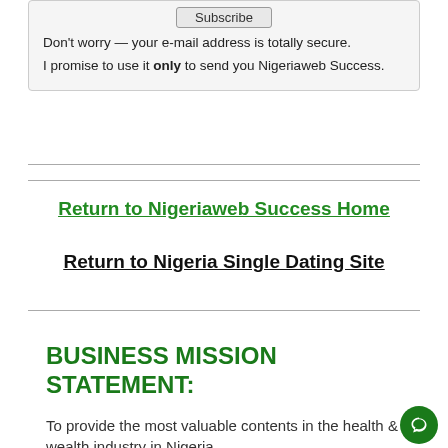Subscribe
Don't worry — your e-mail address is totally secure.
I promise to use it only to send you Nigeriaweb Success.
Return to Nigeriaweb Success Home
Return to Nigeria Single Dating Site
BUSINESS MISSION STATEMENT:
To provide the most valuable contents in the health & wealth industry in Nigeria.